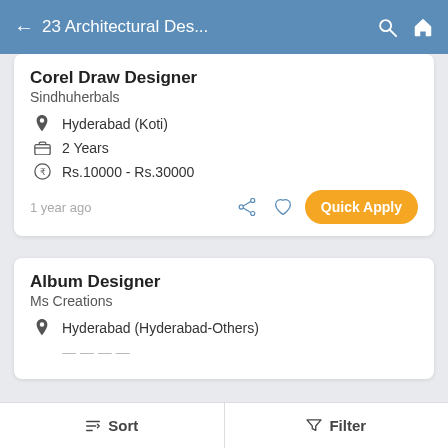← 23 Architectural Des...
Corel Draw Designer
Sindhuherbals
Hyderabad (Koti)
2 Years
Rs.10000 - Rs.30000
1 year ago
Album Designer
Ms Creations
Hyderabad (Hyderabad-Others)
Sort   Filter